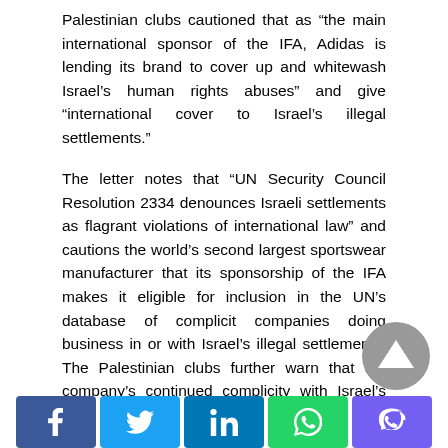Palestinian clubs cautioned that as “the main international sponsor of the IFA, Adidas is lending its brand to cover up and whitewash Israel’s human rights abuses” and give “international cover to Israel’s illegal settlements.”
The letter notes that “UN Security Council Resolution 2334 denounces Israeli settlements as flagrant violations of international law” and cautions the world’s second largest sportswear manufacturer that its sponsorship of the IFA makes it eligible for inclusion in the UN’s database of complicit companies doing business in or with Israel’s illegal settlements. The Palestinian clubs further warn that the company’s continued complicity with Israel’s settlement enterprise “may expose it to consumer-led boycott campaigns in the Arab world and globally.”
Former Palestinian national team player Mahmoud Sarach...